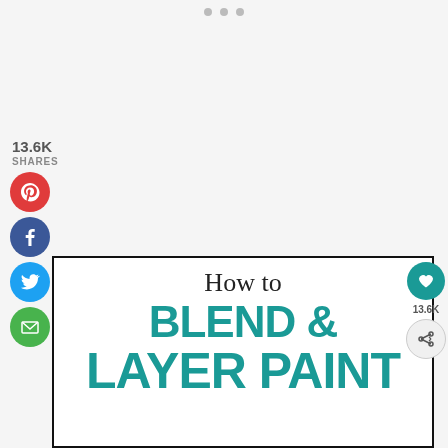[Figure (screenshot): Social media share bar showing 13.6K shares with Pinterest, Facebook, Twitter, and Email circular buttons on the left side]
13.6K
SHARES
[Figure (illustration): Graphic image showing 'How to BLEND & LAYER PAINT' text in teal/white on white background with black border. The words BLEND & and LAYER PAINT are in large bold teal uppercase letters.]
13.6K